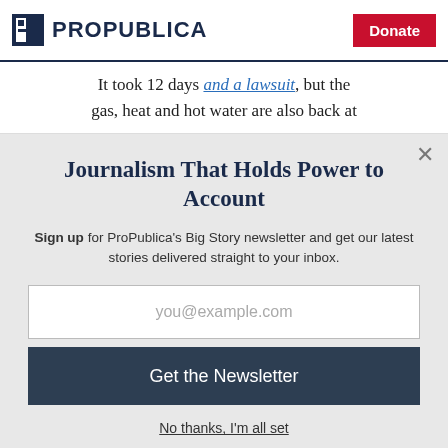ProPublica | Donate
It took 12 days and a lawsuit, but the gas, heat and hot water are also back at
Journalism That Holds Power to Account
Sign up for ProPublica's Big Story newsletter and get our latest stories delivered straight to your inbox.
you@example.com
Get the Newsletter
No thanks, I'm all set
This site is protected by reCAPTCHA and the Google Privacy Policy and Terms of Service apply.